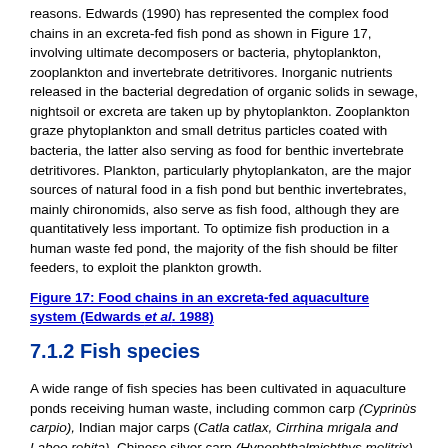reasons. Edwards (1990) has represented the complex food chains in an excreta-fed fish pond as shown in Figure 17, involving ultimate decomposers or bacteria, phytoplankton, zooplankton and invertebrate detritivores. Inorganic nutrients released in the bacterial degredation of organic solids in sewage, nightsoil or excreta are taken up by phytoplankton. Zooplankton graze phytoplankton and small detritus particles coated with bacteria, the latter also serving as food for benthic invertebrate detritivores. Plankton, particularly phytoplankaton, are the major sources of natural food in a fish pond but benthic invertebrates, mainly chironomids, also serve as fish food, although they are quantitatively less important. To optimize fish production in a human waste fed pond, the majority of the fish should be filter feeders, to exploit the plankton growth.
Figure 17: Food chains in an excreta-fed aquaculture system (Edwards et al. 1988)
7.1.2 Fish species
A wide range of fish species has been cultivated in aquaculture ponds receiving human waste, including common carp (Cyprinùs carpio), Indian major carps (Catla catlax, Cirrhina mrigala and Labeo rohita), Chinese silver carp (Hypophthalmichthys molitrix),